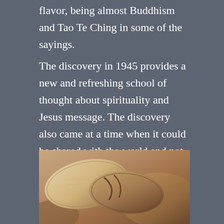flavor, being almost Buddhism and Tao Te Ching in some of the sayings.
The discovery in 1945 provides a new and refreshing school of thought about spirituality and Jesus message. The discovery also came at a time when it could be shared with the world and not suppressed as it was for the last twenty centuries.
[Figure (photo): Ancient scrolls or manuscripts lying on rocky desert terrain, with a warm sandy/earth-tone color palette suggesting archaeological discovery]